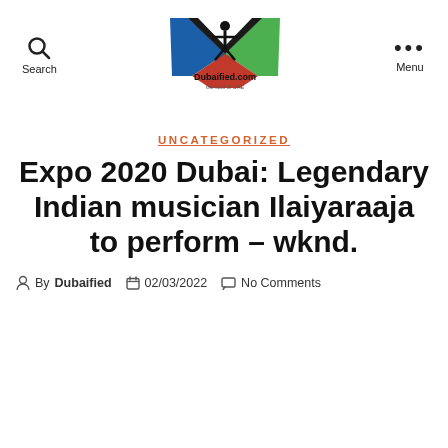Search | Dubaified.com | Menu
[Figure (logo): Dubaified.com logo — colorful X shape with person silhouette, tagline 'the soul of UAE']
UNCATEGORIZED
Expo 2020 Dubai: Legendary Indian musician Ilaiyaraaja to perform – wknd.
By Dubaified  02/03/2022  No Comments